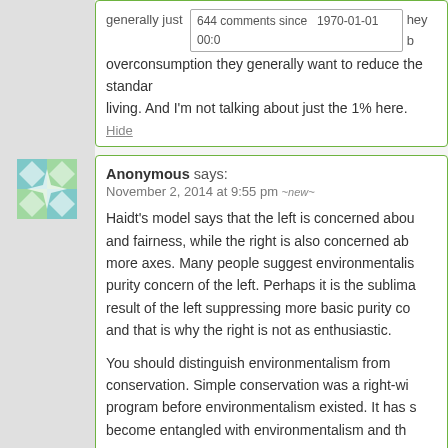generally just  644 comments since  1970-01-01 00:0  hey b overconsumption they generally want to reduce the standar... living. And I'm not talking about just the 1% here.
Hide
Anonymous says: November 2, 2014 at 9:55 pm ~new~
Haidt's model says that the left is concerned about and fairness, while the right is also concerned ab... more axes. Many people suggest environmentalis... purity concern of the left. Perhaps it is the sublima... result of the left suppressing more basic purity co... and that is why the right is not as enthusiastic.
You should distinguish environmentalism from conservation. Simple conservation was a right-wi... program before environmentalism existed. It has s... become entangled with environmentalism and th...